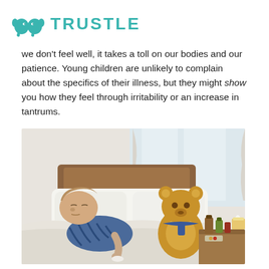TRUSTLE
we don't feel well, it takes a toll on our bodies and our patience. Young children are unlikely to complain about the specifics of their illness, but they might show you how they feel through irritability or an increase in tantrums.
[Figure (photo): A sick young boy lying in bed with white pillows and blankets, wearing striped blue pajamas. A teddy bear with a blue scarf sits beside him. On the bedside table are medicine bottles, tissues, and medical supplies.]